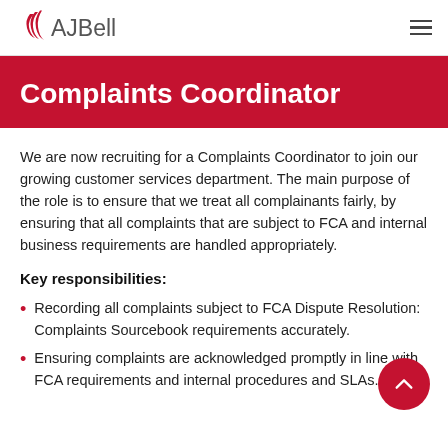AJ Bell
Complaints Coordinator
We are now recruiting for a Complaints Coordinator to join our growing customer services department. The main purpose of the role is to ensure that we treat all complainants fairly, by ensuring that all complaints that are subject to FCA and internal business requirements are handled appropriately.
Key responsibilities:
Recording all complaints subject to FCA Dispute Resolution: Complaints Sourcebook requirements accurately.
Ensuring complaints are acknowledged promptly in line with FCA requirements and internal procedures and SLAs.